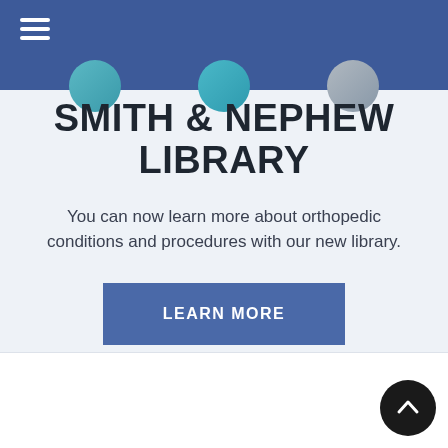Navigation bar with hamburger menu
[Figure (illustration): Three partially visible circular profile/topic icons at the bottom of the navigation bar area]
SMITH & NEPHEW LIBRARY
You can now learn more about orthopedic conditions and procedures with our new library.
LEARN MORE